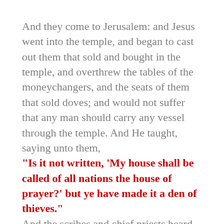And they come to Jerusalem: and Jesus went into the temple, and began to cast out them that sold and bought in the temple, and overthrew the tables of the moneychangers, and the seats of them that sold doves; and would not suffer that any man should carry any vessel through the temple. And He taught, saying unto them, “Is it not written, ‘My house shall be called of all nations the house of prayer?’ but ye have made it a den of thieves.” And the scribes and chief priests heard it, and sought how they might destroy Him: for they feared Him, because all the people was astonished at His doctrine. And when even was come, He went out of the city. — Mark 11:15–19